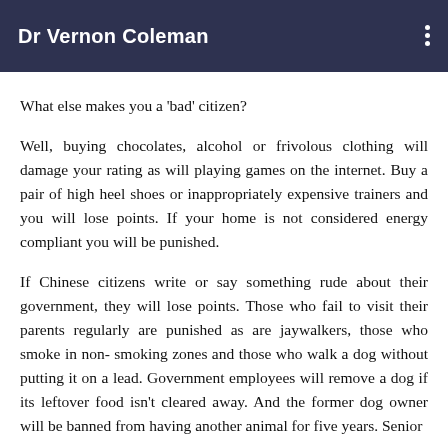Dr Vernon Coleman
What else makes you a 'bad' citizen?
Well, buying chocolates, alcohol or frivolous clothing will damage your rating as will playing games on the internet. Buy a pair of high heel shoes or inappropriately expensive trainers and you will lose points. If your home is not considered energy compliant you will be punished.
If Chinese citizens write or say something rude about their government, they will lose points. Those who fail to visit their parents regularly are punished as are jaywalkers, those who smoke in non- smoking zones and those who walk a dog without putting it on a lead. Government employees will remove a dog if its leftover food isn't cleared away. And the former dog owner will be banned from having another animal for five years. Senior